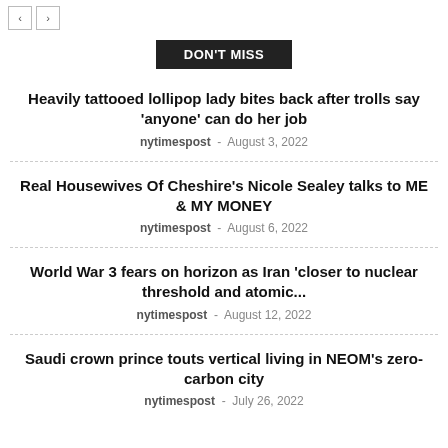< >
DON'T MISS
Heavily tattooed lollipop lady bites back after trolls say 'anyone' can do her job
nytimespost - August 3, 2022
Real Housewives Of Cheshire's Nicole Sealey talks to ME & MY MONEY
nytimespost - August 6, 2022
World War 3 fears on horizon as Iran 'closer to nuclear threshold and atomic...
nytimespost - August 12, 2022
Saudi crown prince touts vertical living in NEOM's zero-carbon city
nytimespost - July 26, 2022